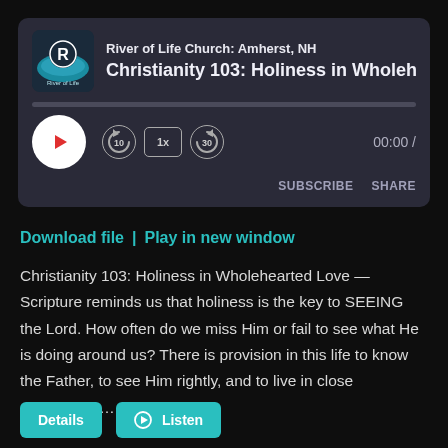[Figure (other): Podcast audio player widget for River of Life Church showing episode 'Christianity 103: Holiness in Wholehearted L...' with play button, progress bar, speed controls (10s back, 1x speed, 30s forward), time display 00:00, SUBSCRIBE and SHARE buttons]
Download file | Play in new window
Christianity 103: Holiness in Wholehearted Love — Scripture reminds us that holiness is the key to SEEING the Lord. How often do we miss Him or fail to see what He is doing around us? There is provision in this life to know the Father, to see Him rightly, and to live in close relationship...
[Figure (other): Details and Listen buttons at the bottom of the page]